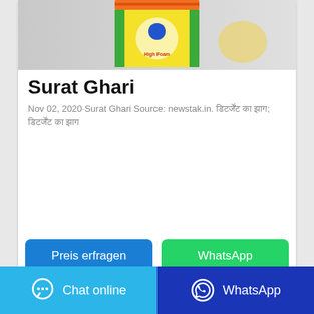[Figure (photo): Product photo of a yellow-green detergent/washing powder package with orange and white accents, shown on a gray background.]
Surat Ghari
Nov 02, 2020·Surat Ghari Source: newstak.in. डिटर्जेंट का झाग; डिटर्जेंट का झाग
[Figure (other): Two action buttons: 'Preis erfragen' (blue) and 'WhatsApp' (green)]
[Figure (other): Bottom navigation bar with 'Chat online' (light blue with chat icon) and 'WhatsApp' (dark blue with WhatsApp icon) buttons]